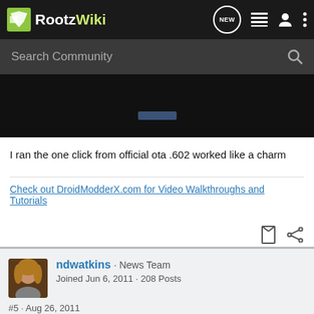RootzWiki
Search Community
[Figure (screenshot): Dark screenshot area showing a partial image with a small blue/white element in the center]
I ran the one click from official ota .602 worked like a charm
Check out DroidModderX.com for Video Walkthroughs and Tutorials
ndwatkins · News Team
Joined Jun 6, 2011 · 208 Posts
#5 · Aug 26, 2011